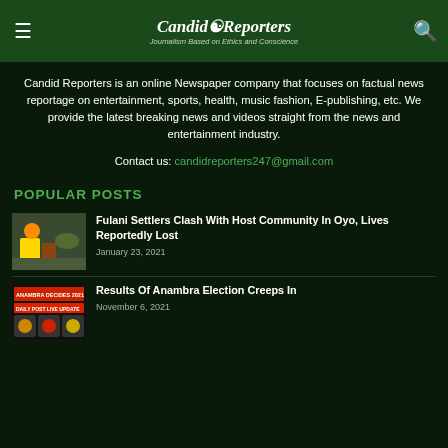Candid Reporters — Journalism Based on Ethics and Conscience
Candid Reporters is an online Newspaper company that focuses on factual news reportage on entertainment, sports, health, music fashion, E-publishing, etc. We provide the latest breaking news and videos straight from the news and entertainment industry.
Contact us: candidreporters247@gmail.com
POPULAR POSTS
Fulani Settlers Clash With Host Community In Oyo, Lives Reportedly Lost — January 23, 2021
Results Of Anambra Election Creeps In — November 6, 2021